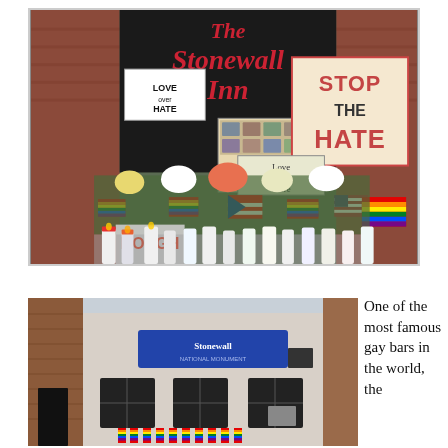[Figure (photo): Memorial at The Stonewall Inn exterior with rainbow flags, flowers, candles, and signs reading 'LOVE OVER HATE', 'STOP THE HATE', 'Love You More', and 'NOUGH'. Signs and tributes covering the front of the building with Puerto Rican and rainbow pride flags.]
[Figure (photo): Exterior of the Stonewall National Monument building, a low white building with a blue banner reading 'Stonewall National Monument', decorated with rainbow pride flags along the base.]
One of the most famous gay bars in the world, the